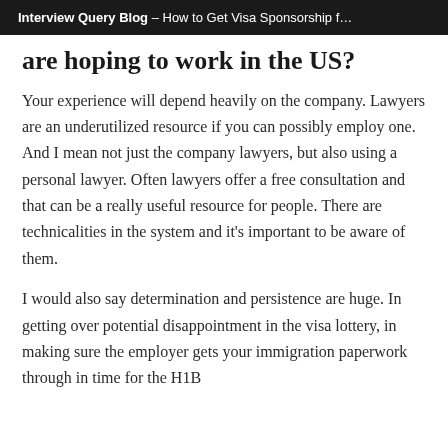Interview Query Blog — How to Get Visa Sponsorship f…
are hoping to work in the US?
Your experience will depend heavily on the company. Lawyers are an underutilized resource if you can possibly employ one. And I mean not just the company lawyers, but also using a personal lawyer. Often lawyers offer a free consultation and that can be a really useful resource for people. There are technicalities in the system and it's important to be aware of them.
I would also say determination and persistence are huge. In getting over potential disappointment in the visa lottery, in making sure the employer gets your immigration paperwork through in time for the H1B…